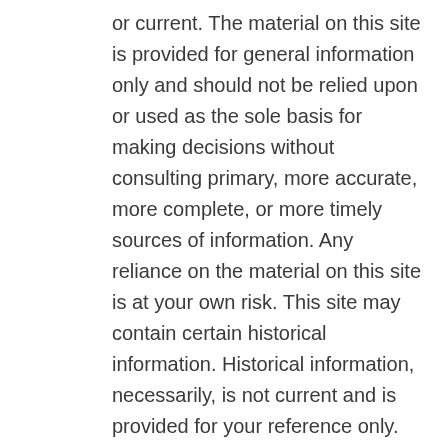or current. The material on this site is provided for general information only and should not be relied upon or used as the sole basis for making decisions without consulting primary, more accurate, more complete, or more timely sources of information. Any reliance on the material on this site is at your own risk. This site may contain certain historical information. Historical information, necessarily, is not current and is provided for your reference only. We reserve the right to modify the contents of this site at any time, but we have no obligation to update any information on our site. You agree that it is your responsibility to monitor changes to our site.